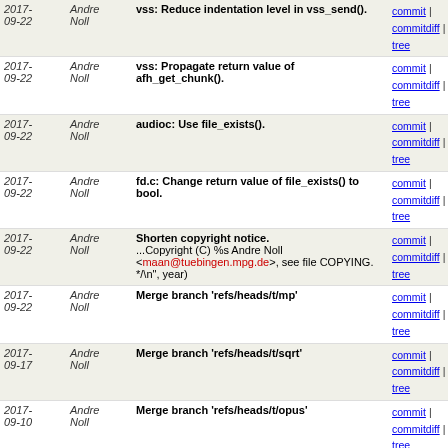| Date | Author | Message | Links |
| --- | --- | --- | --- |
| 2017-09-22 | Andre Noll | vss: Reduce indentation level in vss_send(). | commit | commitdiff | tree |
| 2017-09-22 | Andre Noll | vss: Propagate return value of afh_get_chunk(). | commit | commitdiff | tree |
| 2017-09-22 | Andre Noll | audioc: Use file_exists(). | commit | commitdiff | tree |
| 2017-09-22 | Andre Noll | fd.c: Change return value of file_exists() to bool. | commit | commitdiff | tree |
| 2017-09-22 | Andre Noll | Shorten copyright notice. ...Copyright (C) %s Andre Noll <maan@tuebingen.mpg.de>, see file COPYING. */\n", year) | commit | commitdiff | tree |
| 2017-09-22 | Andre Noll | Merge branch 'refs/heads/t/mp' | commit | commitdiff | tree |
| 2017-09-17 | Andre Noll | Merge branch 'refs/heads/t/sqrt' | commit | commitdiff | tree |
| 2017-09-10 | Andre Noll | Merge branch 'refs/heads/t/opus' | commit | commitdiff | tree |
| 2017-09-03 | Andre Noll | Merge branch 'refs/heads/t/portable_io' | commit | commitdiff | tree |
| 2017-08-27 | Andre Noll | Merge branch 'refs/heads/t/si_conversion' | commit | commitdiff | tree |
| 2017-08-26 | Andre Noll | manual: Fix typo. | commit | commitdiff | tree |
| 2017-08-26 | Andre Noll | manual: Update URLs which give 301. | commit | commitdiff | tree |
| 2017-08-26 | Andre Noll | manual: Fix typo in link. | commit | commitdiff | tree |